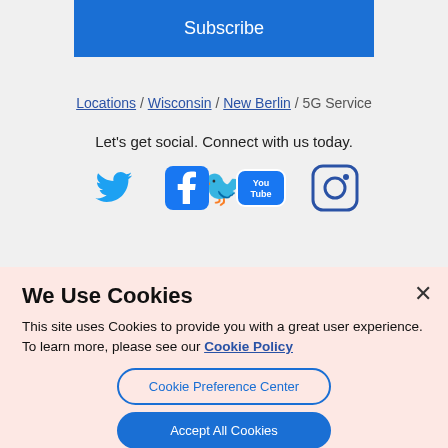Subscribe
Locations / Wisconsin / New Berlin / 5G Service
Let's get social. Connect with us today.
[Figure (illustration): Four social media icons: Twitter (bird), Facebook (f), YouTube (play button with 'You Tube' text), Instagram (camera)]
We Use Cookies
This site uses Cookies to provide you with a great user experience. To learn more, please see our Cookie Policy
Cookie Preference Center
Accept All Cookies